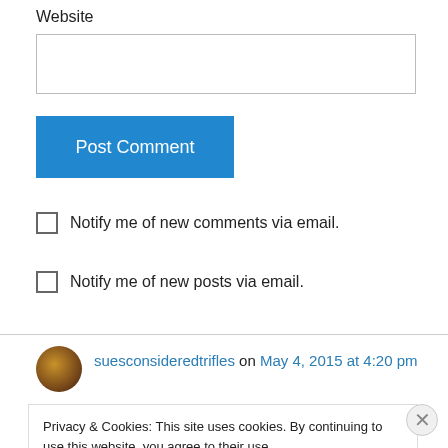Website
Post Comment
Notify me of new comments via email.
Notify me of new posts via email.
suesconsideredtrifles on May 4, 2015 at 4:20 pm
Privacy & Cookies: This site uses cookies. By continuing to use this website, you agree to their use. To find out more, including how to control cookies, see here: Cookie Policy
Close and accept